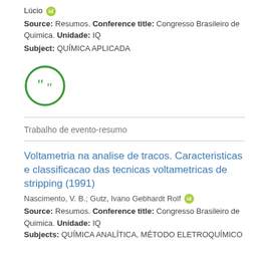Lúcio [orcid]
Source: Resumos. Conference title: Congresso Brasileiro de Quimica. Unidade: IQ
Subject: QUÍMICA APLICADA
[Figure (illustration): Green circle with quotation marks icon]
Trabalho de evento-resumo
Voltametria na analise de tracos. Caracteristicas e classificacao das tecnicas voltametricas de stripping (1991)
Nascimento, V. B.; Gutz, Ivano Gebhardt Rolf [orcid]
Source: Resumos. Conference title: Congresso Brasileiro de Quimica. Unidade: IQ
Subjects: QUÍMICA ANALÍTICA, MÉTODO ELETROQUÍMICO